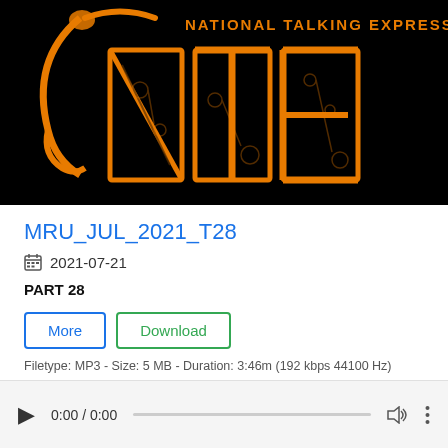[Figure (logo): National Talking Express (NTE) logo — black background with large orange outlined letters N, T, E and orange crescent/headphone symbol on left, text 'NATIONAL TALKING EXPRESS' above letters in orange]
MRU_JUL_2021_T28
2021-07-21
PART 28
More
Download
Filetype: MP3 - Size: 5 MB - Duration: 3:46m (192 kbps 44100 Hz)
0:00 / 0:00